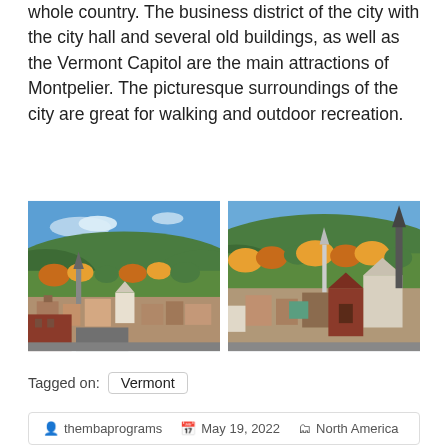whole country. The business district of the city with the city hall and several old buildings, as well as the Vermont Capitol are the main attractions of Montpelier. The picturesque surroundings of the city are great for walking and outdoor recreation.
[Figure (photo): Two aerial photographs of Montpelier, Vermont side by side, showing the town with church steeples, colorful autumn trees, and green hills in the background under a blue sky.]
Tagged on:  Vermont
thembaprograms   May 19, 2022   North America